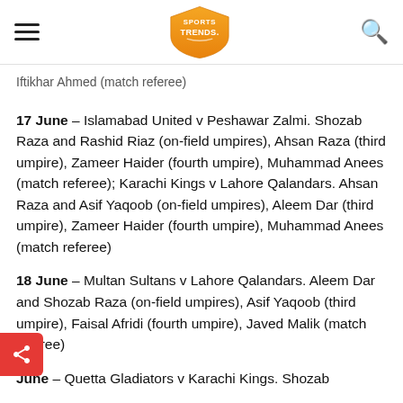Sports Trends (logo)
Iftikhar Ahmed (match referee)
17 June – Islamabad United v Peshawar Zalmi. Shozab Raza and Rashid Riaz (on-field umpires), Ahsan Raza (third umpire), Zameer Haider (fourth umpire), Muhammad Anees (match referee); Karachi Kings v Lahore Qalandars. Ahsan Raza and Asif Yaqoob (on-field umpires), Aleem Dar (third umpire), Zameer Haider (fourth umpire), Muhammad Anees (match referee)
18 June – Multan Sultans v Lahore Qalandars. Aleem Dar and Shozab Raza (on-field umpires), Asif Yaqoob (third umpire), Faisal Afridi (fourth umpire), Javed Malik (match referee)
June – Quetta Gladiators v Karachi Kings. Shozab…